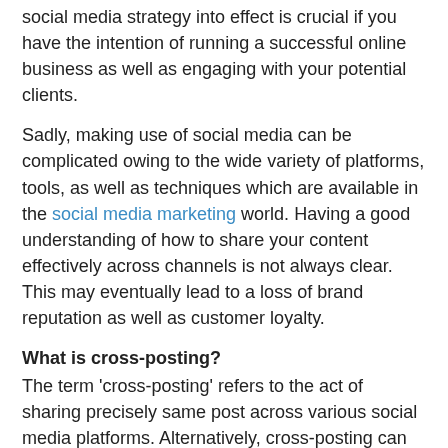social media strategy into effect is crucial if you have the intention of running a successful online business as well as engaging with your potential clients.
Sadly, making use of social media can be complicated owing to the wide variety of platforms, tools, as well as techniques which are available in the social media marketing world. Having a good understanding of how to share your content effectively across channels is not always clear. This may eventually lead to a loss of brand reputation as well as customer loyalty.
What is cross-posting?
The term ‘cross-posting’ refers to the act of sharing precisely same post across various social media platforms. Alternatively, cross-posting can also refer to the posting of the same content on the same account a number of times. Just as with any bad habit, cross-posting is very tempting. This is because:
It keeps your accounts active,
Saves time, as well as
Makes it easy to spread your content to as many